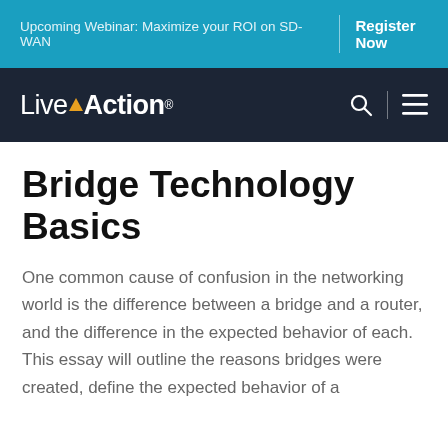Upcoming Webinar: Maximize your ROI on SD-WAN | Register Now
[Figure (logo): LiveAction logo with triangle icon in white on dark navy background, with search and hamburger menu icons]
Bridge Technology Basics
One common cause of confusion in the networking world is the difference between a bridge and a router, and the difference in the expected behavior of each. This essay will outline the reasons bridges were created, define the expected behavior of a